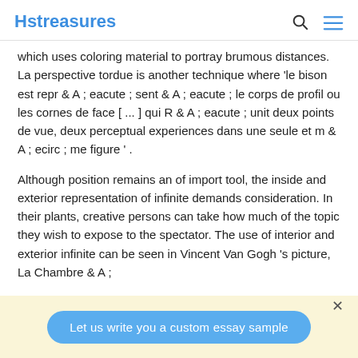Hstreasures
which uses coloring material to portray brumous distances. La perspective tordue is another technique where 'le bison est repr & A ; eacute ; sent & A ; eacute ; le corps de profil ou les cornes de face [ ... ] qui R & A ; eacute ; unit deux points de vue, deux perceptual experiences dans une seule et m & A ; ecirc ; me figure ' .
Although position remains an of import tool, the inside and exterior representation of infinite demands consideration. In their plants, creative persons can take how much of the topic they wish to expose to the spectator. The use of interior and exterior infinite can be seen in Vincent Van Gogh 's picture, La Chambre & A ;
Let us write you a custom essay sample